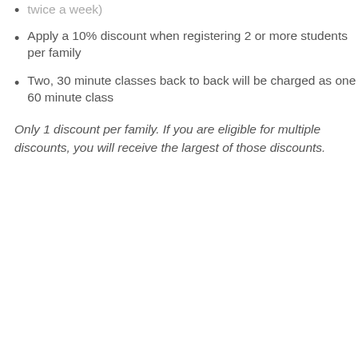twice a week)
Apply a 10% discount when registering 2 or more students per family
Two, 30 minute classes back to back will be charged as one 60 minute class
Only 1 discount per family.  If you are eligible for multiple discounts, you will receive the largest of those discounts.